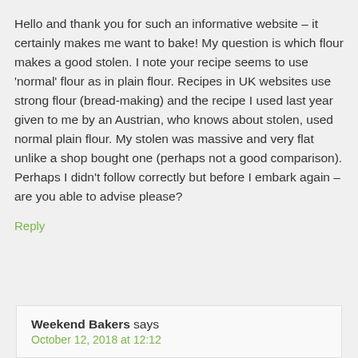Hello and thank you for such an informative website – it certainly makes me want to bake! My question is which flour makes a good stolen. I note your recipe seems to use 'normal' flour as in plain flour. Recipes in UK websites use strong flour (bread-making) and the recipe I used last year given to me by an Austrian, who knows about stolen, used normal plain flour. My stolen was massive and very flat unlike a shop bought one (perhaps not a good comparison). Perhaps I didn't follow correctly but before I embark again – are you able to advise please?
Reply
Weekend Bakers says
October 12, 2018 at 12:12